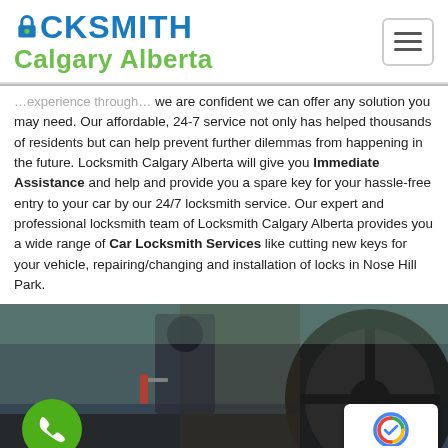[Figure (logo): Locksmith Calgary Alberta logo with blue LOCKSMITH text and green Calgary Alberta text, with a hamburger menu button on the right]
we are confident we can offer any solution you may need. Our affordable, 24-7 service not only has helped thousands of residents but can help prevent further dilemmas from happening in the future. Locksmith Calgary Alberta will give you Immediate Assistance and help and provide you a spare key for your hassle-free entry to your car by our 24/7 locksmith service. Our expert and professional locksmith team of Locksmith Calgary Alberta provides you a wide range of Car Locksmith Services like cutting new keys for your vehicle, repairing/changing and installation of locks in Nose Hill Park.
[Figure (photo): Photo showing a person near a car door with a steering wheel visible, with a green phone call button overlay and a reCAPTCHA badge in the bottom right corner]